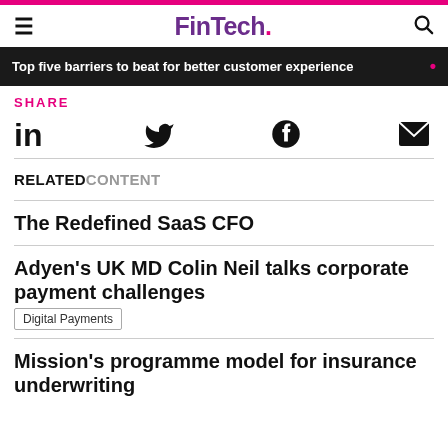FinTech.
Top five barriers to beat for better customer experience
SHARE
[Figure (infographic): Social sharing icons: LinkedIn, Twitter, Facebook, Email]
RELATED CONTENT
The Redefined SaaS CFO
Adyen's UK MD Colin Neil talks corporate payment challenges
Digital Payments
Mission's programme model for insurance underwriting